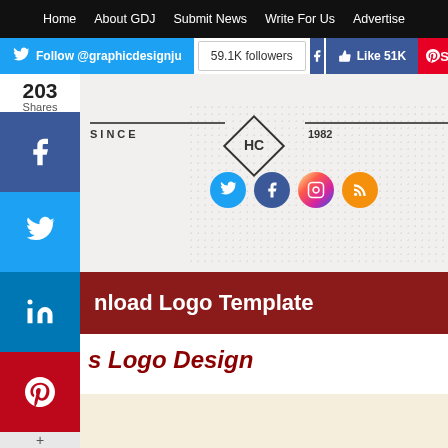Home | About GDJ | Submit News | Write For Us | Advertise
[Figure (screenshot): Social media toolbar with Twitter follow button showing @graphicdesignju, 59.1K followers, Facebook Like 51K, Pinterest share button]
[Figure (infographic): Website banner with 'SINCE HC 1982' diamond logo, social icons for Twitter, Facebook, Instagram, RSS, and dotted pattern background]
203 Shares
[Figure (screenshot): Share sidebar buttons: Facebook, Twitter, LinkedIn, Pinterest, More (+)]
nload Logo Template
s Logo Design
[Figure (other): Beige/cream colored content area at bottom of page]